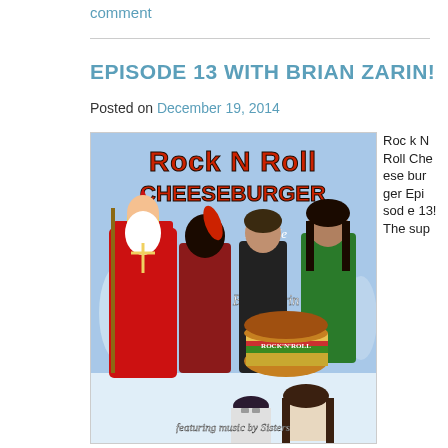comment
EPISODE 13 WITH BRIAN ZARIN!
Posted on December 19, 2014
[Figure (photo): Album/podcast cover art for Rock N Roll Cheeseburger Episode 13 with Brian Zarin, featuring costumed characters including Saint Nicholas and Zwarte Piet, musicians, and a cheeseburger, with snowy winter background. Text reads 'Rock N Roll Cheeseburger Episode 13 with Brian Zarin featuring music by Sisters'.]
Rock N Roll Cheeseburger Episode 13! The sup